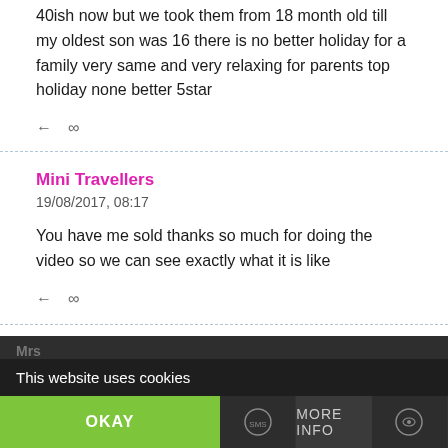40ish now but we took them from 18 month old till my oldest son was 16 there is no better holiday for a family very same and very relaxing for parents top holiday none better 5star
← ∞
Mini Travellers
19/08/2017, 08:17
You have me sold thanks so much for doing the video so we can see exactly what it is like
← ∞
Mrs
This website uses cookies
OKAY
MORE INFO